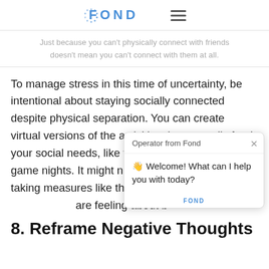FOND
Just because you can't physically connect with friends doesn't mean you can't connect with them at all.
To manage stress in this time of uncertainty, be intentional about staying socially connected despite physical separation. You can create virtual versions of the activities that normally feed your social needs, like video happy hours or game nights. It might not come naturally, but taking measures like these can help allev... are feeling about b...
[Figure (screenshot): Chat widget popup from Fond operator: 'Welcome! What can I help you with today?']
8. Reframe Negative Thoughts